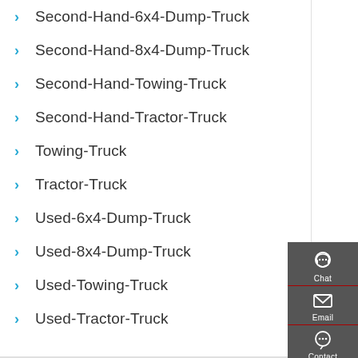Second-Hand-6x4-Dump-Truck
Second-Hand-8x4-Dump-Truck
Second-Hand-Towing-Truck
Second-Hand-Tractor-Truck
Towing-Truck
Tractor-Truck
Used-6x4-Dump-Truck
Used-8x4-Dump-Truck
Used-Towing-Truck
Used-Tractor-Truck
[Figure (infographic): Sidebar with Chat, Email, Contact, and Top navigation icons on dark grey background]